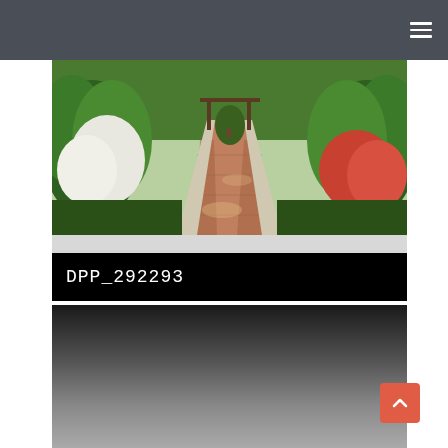Navigation bar with hamburger menu icon
[Figure (photo): A garden path flanked by lush green bushes, flowering plants and trees. The brick/terracotta paved walkway recedes into the distance with sunlight and shadows dappled across it.]
DPP_292293
[Figure (photo): Dark gradient area - bottom section of page, transitioning from near-black at top to medium grey at bottom.]